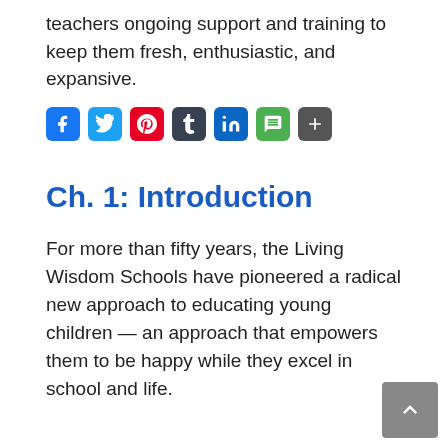teachers ongoing support and training to keep them fresh, enthusiastic, and expansive.
[Figure (other): Social sharing icons: Facebook, Twitter, Pinterest, Tumblr, LinkedIn, SMS, and a plus/more button]
Ch. 1: Introduction
For more than fifty years, the Living Wisdom Schools have pioneered a radical new approach to educating young children — an approach that empowers them to be happy while they excel in school and life.